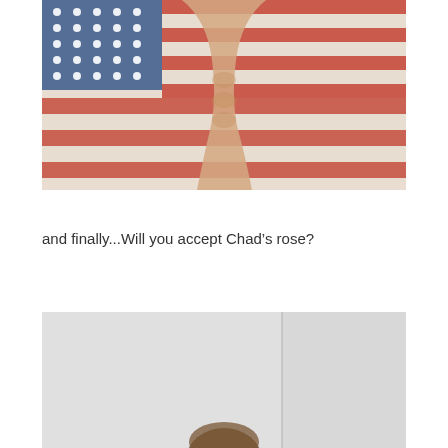[Figure (photo): Shirtless person with muscular torso posing in front of an American flag (stars and stripes visible), photo has a slightly washed-out/vintage tone]
and finally...Will you accept Chad’s rose?
[Figure (photo): Person with brown hair partially visible at bottom of frame, standing against a light gray/white background with a vertical line or edge visible]